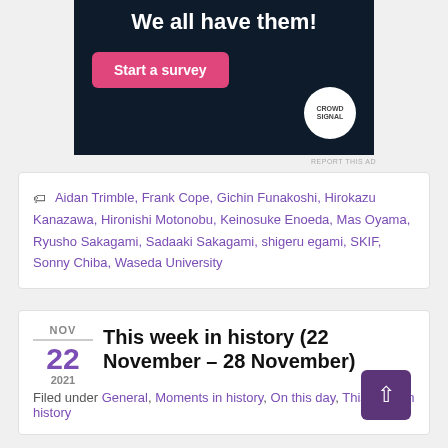[Figure (screenshot): Advertisement banner with dark navy background. Large white bold text 'We all have them!' at top. Pink rounded button 'Start a survey' on left. Crowd Signal logo (white circle) on bottom right.]
REPORT THIS AD
Aidan Trimble, Frank Cope, Gichin Funakoshi, Hirokazu Kanazawa, Hironishi Motonobu, Keinosuke Enoeda, Mas Oyama, Ryusho Sakagami, Sadaaki Sakagami, shigeru egami, SKIF, Sonny Chiba, Waseda University
This week in history (22 November – 28 November)
Filed under General, Moments in history, On this day, This week in history